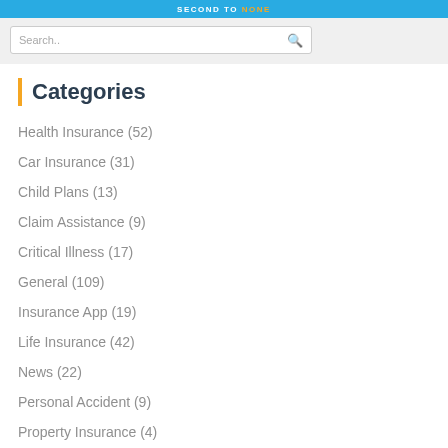SECOND TO NONE
Categories
Health Insurance (52)
Car Insurance (31)
Child Plans (13)
Claim Assistance (9)
Critical Illness (17)
General (109)
Insurance App (19)
Life Insurance (42)
News (22)
Personal Accident (9)
Property Insurance (4)
Retirement Insurance (14)